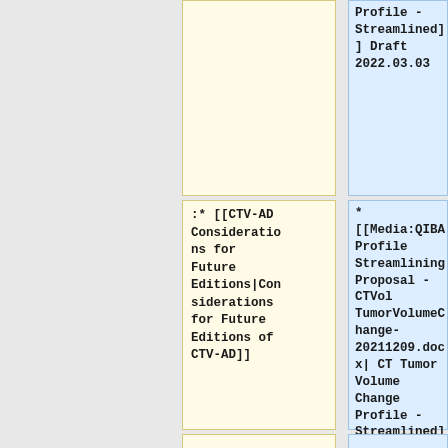Profile - Streamlined] Draft 2022.03.03
:* [[CTV-AD Considerations for Future Editions|Considerations for Future Editions of CTV-AD]]
* [[Media:QIBA Profile Streamlining Proposal - CTVol TumorVolumeChange-20211209.docx| CT Tumor Volume Change Profile - Streamlined] Draft 2021.12.09